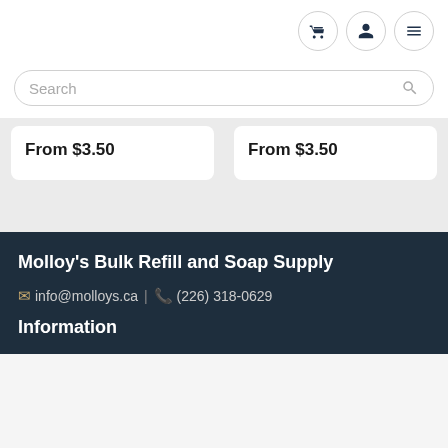Navigation icons: cart, user, menu
Search
From $3.50
From $3.50
Molloy's Bulk Refill and Soap Supply
info@molloys.ca | (226) 318-0629
Information